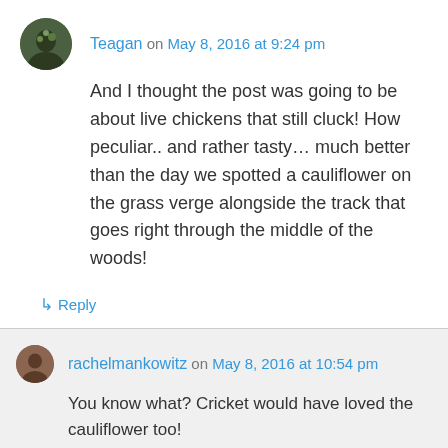Teagan on May 8, 2016 at 9:24 pm
And I thought the post was going to be about live chickens that still cluck! How peculiar.. and rather tasty… much better than the day we spotted a cauliflower on the grass verge alongside the track that goes right through the middle of the woods!
↳ Reply
rachelmankowitz on May 8, 2016 at 10:54 pm
You know what? Cricket would have loved the cauliflower too!
↳ Reply